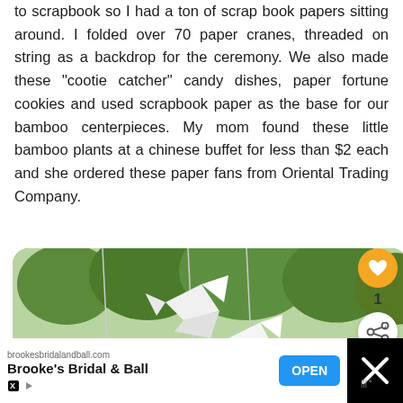to scrapbook so I had a ton of scrap book papers sitting around. I folded over 70 paper cranes, threaded on string as a backdrop for the ceremony. We also made these "cootie catcher" candy dishes, paper fortune cookies and used scrapbook paper as the base for our bamboo centerpieces. My mom found these little bamboo plants at a chinese buffet for less than $2 each and she ordered these paper fans from Oriental Trading Company.
[Figure (photo): Photo of white origami paper cranes hanging on strings outdoors, with green trees in the background. A rounded-corner photo.]
[Figure (infographic): Heart/like button (orange circle with heart icon), count of 1, share button. What's Next panel showing a thumbnail and text 'WHAT'S NEXT → Sweet Sister']
brookesbridalandball.com
Brooke's Bridal & Ball
OPEN